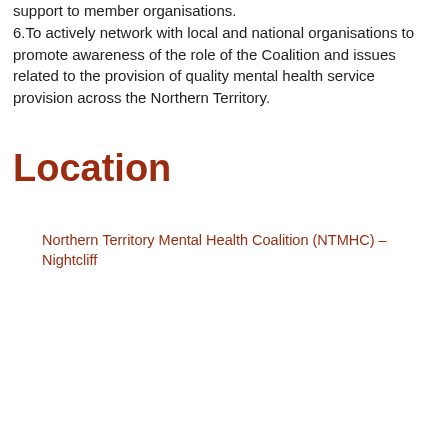support to member organisations. 6.To actively network with local and national organisations to promote awareness of the role of the Coalition and issues related to the provision of quality mental health service provision across the Northern Territory.
Location
Northern Territory Mental Health Coalition (NTMHC) – Nightcliff